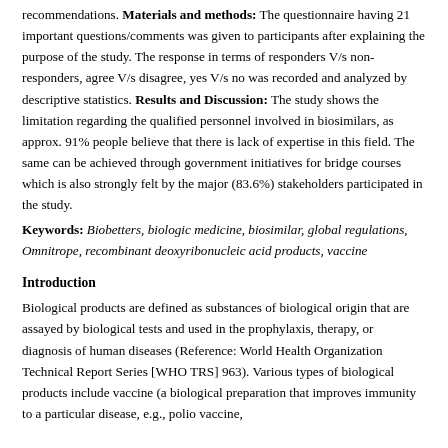recommendations. Materials and methods: The questionnaire having 21 important questions/comments was given to participants after explaining the purpose of the study. The response in terms of responders V/s non-responders, agree V/s disagree, yes V/s no was recorded and analyzed by descriptive statistics. Results and Discussion: The study shows the limitation regarding the qualified personnel involved in biosimilars, as approx. 91% people believe that there is lack of expertise in this field. The same can be achieved through government initiatives for bridge courses which is also strongly felt by the major (83.6%) stakeholders participated in the study.
Keywords: Biobetters, biologic medicine, biosimilar, global regulations, Omnitrope, recombinant deoxyribonucleic acid products, vaccine
Introduction
Biological products are defined as substances of biological origin that are assayed by biological tests and used in the prophylaxis, therapy, or diagnosis of human diseases (Reference: World Health Organization Technical Report Series [WHO TRS] 963). Various types of biological products include vaccine (a biological preparation that improves immunity to a particular disease, e.g., polio vaccine,